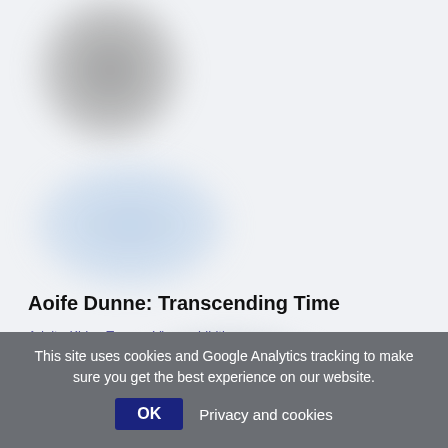[Figure (photo): Blurred/redacted photograph showing dark and light blue blurred shapes against a light gray-white background, with a partial blurred image at the bottom]
Aoife Dunne: Transcending Time
Adult • Kids • Teens • View exhibition • View performance • Visual
Add to my list
This site uses cookies and Google Analytics tracking to make sure you get the best experience on our website.
OK  Privacy and cookies